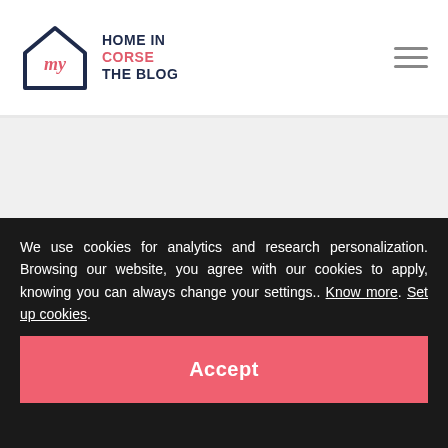HOME IN CORSE THE BLOG
Corse
Proud Frenchs? Yes a little! Pragmatic, for sure. We believe there is nothing better than a "Service à la Française" for whoever wants to discover France, and be advised with quality. Let's forget standards and the big players. Let's value local knowledge and local companies to achieve
We use cookies for analytics and research personalization. Browsing our website, you agree with our cookies to apply, knowing you can always change your settings.. Know more. Set up cookies.
Accept